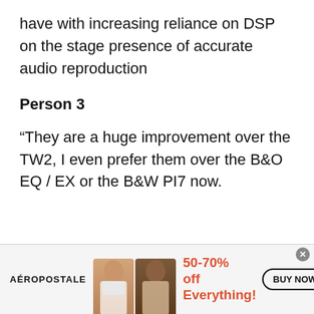have with increasing reliance on DSP on the stage presence of accurate audio reproduction
Person 3
“They are a huge improvement over the TW2, I even prefer them over the B&O EQ / EX or the B&W PI7 now.
[Figure (other): Aéropostale advertisement banner showing two female models, text '50-70% off Everything!' in orange/red, and a 'BUY NOW' button.]